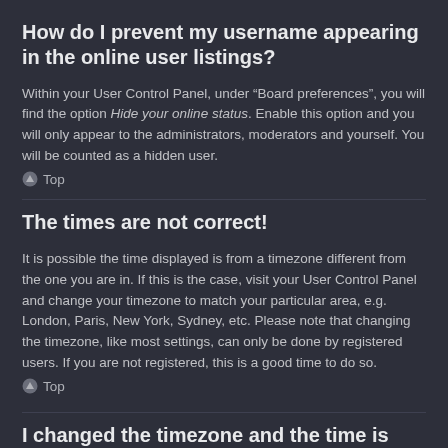How do I prevent my username appearing in the online user listings?
Within your User Control Panel, under “Board preferences”, you will find the option Hide your online status. Enable this option and you will only appear to the administrators, moderators and yourself. You will be counted as a hidden user.
▲ Top
The times are not correct!
It is possible the time displayed is from a timezone different from the one you are in. If this is the case, visit your User Control Panel and change your timezone to match your particular area, e.g. London, Paris, New York, Sydney, etc. Please note that changing the timezone, like most settings, can only be done by registered users. If you are not registered, this is a good time to do so.
▲ Top
I changed the timezone and the time is still wrong!
If you are sure you have set the timezone correctly and the time is still